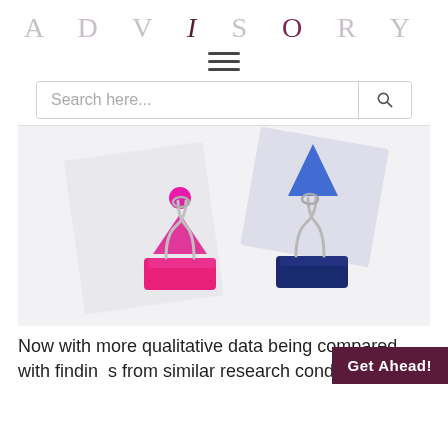ADVISORY
[Figure (illustration): Hamburger menu icon (three horizontal lines)]
[Figure (screenshot): Search bar with placeholder text 'Search here...' and a search magnifying glass button]
[Figure (photo): Two binder clips holding paper cards. Front clip is pink/magenta with a pink paper showing a stylized person (circle head on triangle body). Back clip is navy blue with a blue triangular paper element.]
Now with more qualitative data being compared with findings from similar research conducted
[Figure (illustration): Purple circular tab on right edge of page]
Get Ahead!